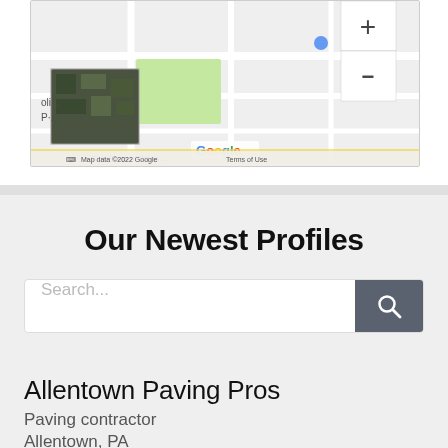[Figure (map): Google Maps screenshot showing a partial street/satellite map view with zoom controls, Google logo, and attribution text 'Map data ©2022 Google Terms of Use']
Our Newest Profiles
Search...
Allentown Paving Pros
Paving contractor
Allentown, PA